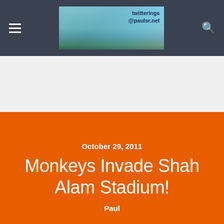twitterings @paulsr.net
Monkeys Invade Shah Alam Stadium!
October 29, 2011
Paul
Share  Tweet  Pin  Mail  SMS
As I was driving to my workshop early this morning, it looked like an overnight snowstorm had hit the Shah Alam Stadium parking lot.
Okay, I thought, that's not possible, so what is spread all